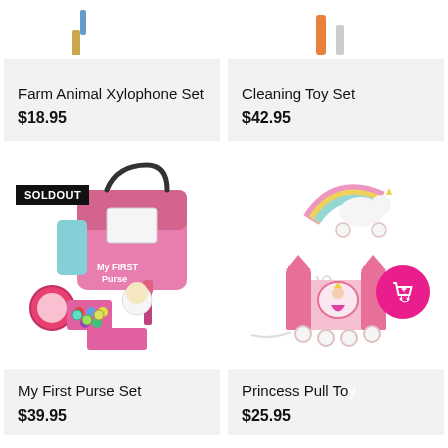[Figure (photo): Top portion of Farm Animal Xylophone Set product image (cropped)]
[Figure (photo): Top portion of Cleaning Toy Set product image (cropped)]
Farm Animal Xylophone Set
$18.95
Cleaning Toy Set
$42.95
[Figure (photo): My First Purse Set - pink plush purse with toy makeup, mirror, lipstick, keys, credit card, and accessories. SOLD OUT badge shown.]
[Figure (photo): Princess Pull Toy - wooden unicorn pull toy with rainbow and pink castle on wheels]
My First Purse Set
$39.95
Princess Pull To
$25.95